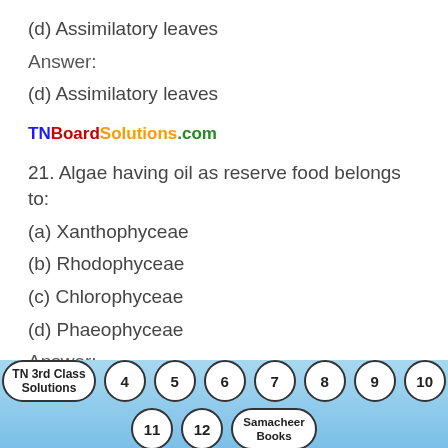(d) Assimilatory leaves
Answer:
(d) Assimilatory leaves
TNBoardSolutions.com
21. Algae having oil as reserve food belongs to:
(a) Xanthophyceae
(b) Rhodophyceae
(c) Chlorophyceae
(d) Phaeophyceae
Answer:
(a) Xanthophyceae
TN 3rd Class Solutions | 4 | 5 | 6 | 7 | 8 | 9 | 10 | 11 | 12 | Samacheer Books